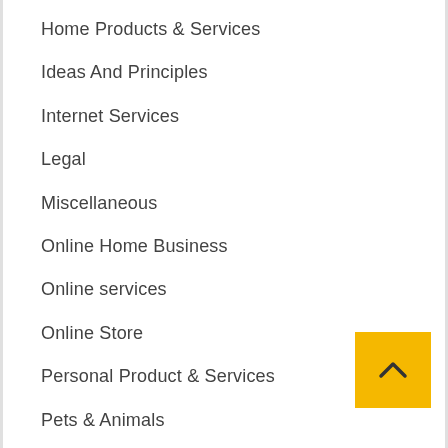Home Products & Services
Ideas And Principles
Internet Services
Legal
Miscellaneous
Online Home Business
Online services
Online Store
Personal Product & Services
Pets & Animals
Real Estate
Relationships
Selling Anything
Small Store